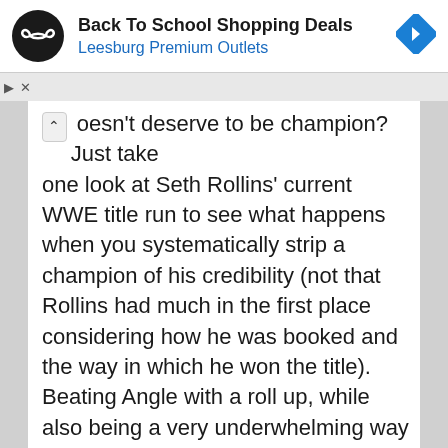[Figure (screenshot): Ad banner: Back To School Shopping Deals at Leesburg Premium Outlets, with circular logo and navigation arrow icon]
doesn't deserve to be champion?  Just take one look at Seth Rollins' current WWE title run to see what happens when you systematically strip a champion of his credibility (not that Rollins had much in the first place considering how he was booked and the way in which he won the title). Beating Angle with a roll up, while also being a very underwhelming way to execute a title change, does little for EC3's credibility.